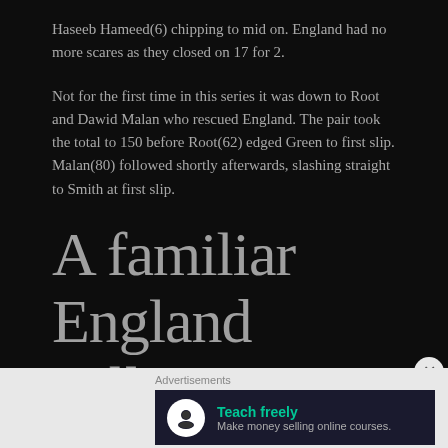Haseeb Hameed(6) chipping to mid on. England had no more scares as they closed on 17 for 2.
Not for the first time in this series it was down to Root and Dawid Malan who rescued England. The pair took the total to 150 before Root(62) edged Green to first slip. Malan(80) followed shortly afterwards, slashing straight to Smith at first slip.
A familiar England collapse
Advertisements
[Figure (other): Advertisement banner: Teach freely - Make money selling online courses.]